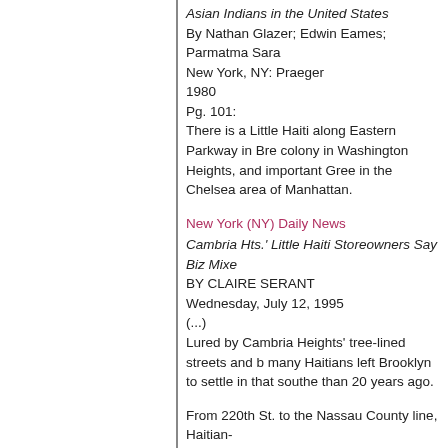Asian Indians in the United States
By Nathan Glazer; Edwin Eames; Parmatma Sara
New York, NY: Praeger
1980
Pg. 101:
There is a Little Haiti along Eastern Parkway in Br... colony in Washington Heights, and important Gree... in the Chelsea area of Manhattan.
New York (NY) Daily News
Cambria Hts.' Little Haiti Storeowners Say Biz Mix...
BY CLAIRE SERANT
Wednesday, July 12, 1995
(...)
Lured by Cambria Heights' tree-lined streets and b... many Haitians left Brooklyn to settle in that southe... than 20 years ago.
From 220th St. to the Nassau County line, Haitian-... loyal African-American and Caribbean customers w... culture of Haiti.
Google Books
Caribbean Migration:
Globalised Identities